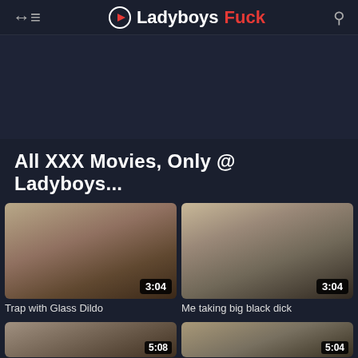LadyboysFuck
All XXX Movies, Only @ Ladyboys...
[Figure (screenshot): Video thumbnail 1: Trap with Glass Dildo, duration 3:04]
Trap with Glass Dildo
[Figure (screenshot): Video thumbnail 2: Me taking big black dick, duration 3:04]
Me taking big black dick
[Figure (screenshot): Video thumbnail 3: Amateur Ebony Dominating Guy, duration 5:08]
Amateur Ebony Dominating Guy...
[Figure (screenshot): Video thumbnail 4: Look I have a dick too :), duration 5:04]
Look I have a dick too :)